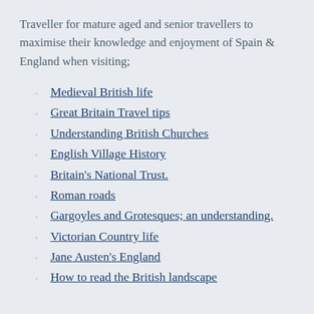Traveller for mature aged and senior travellers to maximise their knowledge and enjoyment of Spain & England when visiting;
Medieval British life
Great Britain Travel tips
Understanding British Churches
English Village History
Britain's National Trust.
Roman roads
Gargoyles and Grotesques; an understanding.
Victorian Country life
Jane Austen's England
How to read the British landscape